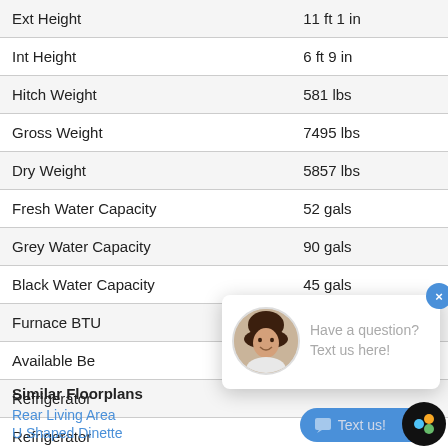| Specification | Value |
| --- | --- |
| Ext Height | 11 ft 1 in |
| Int Height | 6 ft 9 in |
| Hitch Weight | 581 lbs |
| Gross Weight | 7495 lbs |
| Dry Weight | 5857 lbs |
| Fresh Water Capacity | 52 gals |
| Grey Water Capacity | 90 gals |
| Black Water Capacity | 45 gals |
| Furnace BTU | 30000 btu |
| Available Be… |  |
| Refrigerator… |  |
| Refrigerator… |  |
| Cooktop Bur… |  |
[Figure (other): Chat popup overlay with female agent avatar and text 'Have a question? Text us here!' with close button and 'Text us!' button]
Similar Floorplans
Rear Living Area
U Shaped Dinette